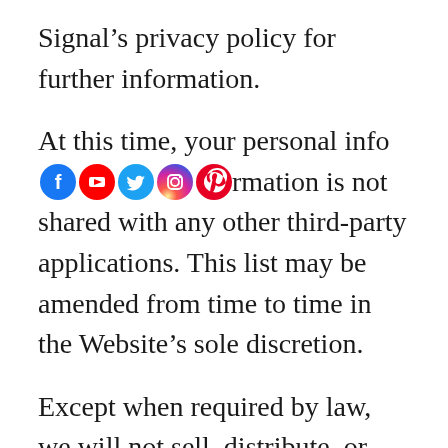Signal's privacy policy for further information.
At this time, your personal information is not shared with any other third-party applications. This list may be amended from time to time in the Website's sole discretion.
Except when required by law, we will not sell, distribute, or reveal your email addresses or other personal information without your consent; however, we may disclose or transfer personal information collected through the